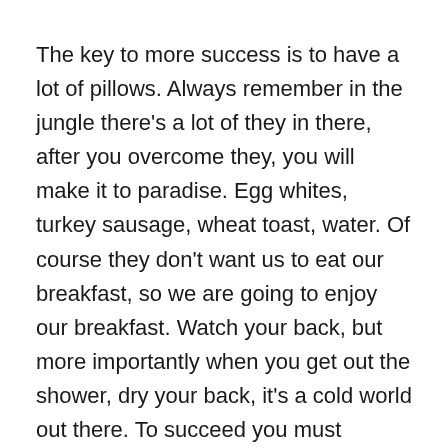The key to more success is to have a lot of pillows. Always remember in the jungle there's a lot of they in there, after you overcome they, you will make it to paradise. Egg whites, turkey sausage, wheat toast, water. Of course they don't want us to eat our breakfast, so we are going to enjoy our breakfast. Watch your back, but more importantly when you get out the shower, dry your back, it's a cold world out there. To succeed you must believe. When you believe, you will succeed.
You should never complain, complaining is a weak emotion, you got life, we breathing, we blessed. Surround yourself with angels. They never said winning was easy. Some people